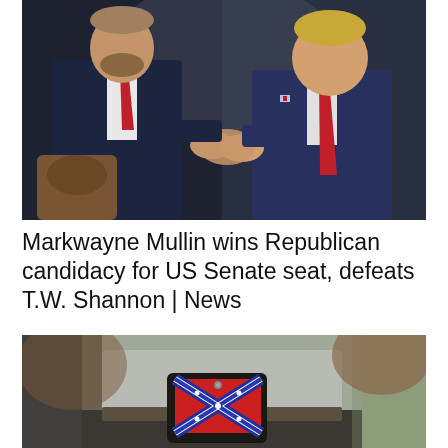[Figure (photo): Two men in dark suits shaking hands. The man on the left has a beard and red tie; the man on the right is older with blond hair and a red tie. They appear to be at a formal event.]
Markwayne Mullin wins Republican candidacy for US Senate seat, defeats T.W. Shannon | News
[Figure (photo): Close-up of a person's midsection wearing a gray shirt, with a holster or wallet featuring a Confederate flag design visible at their side.]